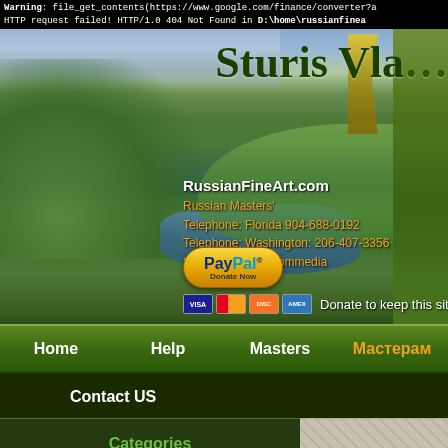Warning: file_get_contents(https://www.google.com/finance/converter?a HTTP request failed! HTTP/1.0 404 Not Found in D:\home\russianfinea
[Figure (photo): Landscape photo of Russian countryside with river, green hills, trees, used as website hero banner. Overlaid with title 'Sturis Vla' (partially cropped), site info 'RussianFineArt.com', contact details in orange text including Russian Masters', Florida and Washington phone numbers, Skype info, and a PayPal Donate Now button with credit card icons.]
RussianFineArt.com
Russian Masters'
Telephone: Florida 904-688-0192
Telephone: Washington: 206-407-3356
Skype:Finita La Commedia
Donate to keep this site free
Home
Help
Masters
Мастерам
Contact US
Categories